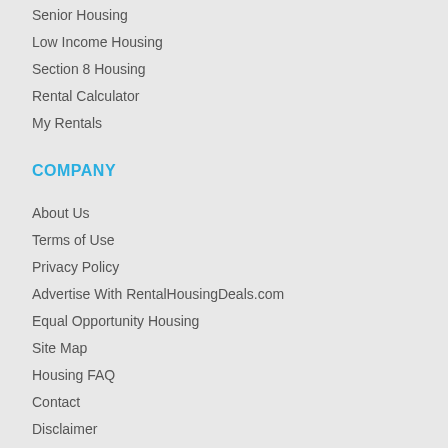Senior Housing
Low Income Housing
Section 8 Housing
Rental Calculator
My Rentals
COMPANY
About Us
Terms of Use
Privacy Policy
Advertise With RentalHousingDeals.com
Equal Opportunity Housing
Site Map
Housing FAQ
Contact
Disclaimer
JOIN US ON